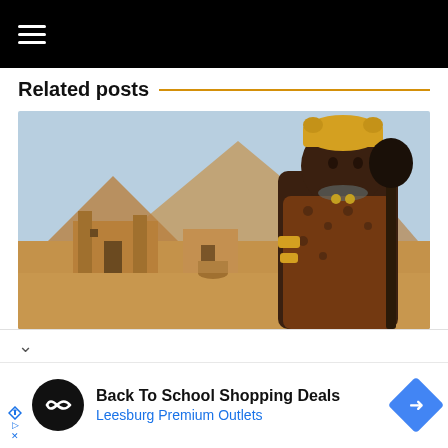≡ (hamburger menu icon)
Related posts
[Figure (illustration): Digital 3D illustration of an ancient Nubian/Egyptian king wearing a gold crown and leopard skin garment, holding a scepter, standing in front of Meroe-style pyramids and ancient stone buildings in a desert landscape.]
∨
Back To School Shopping Deals
Leesburg Premium Outlets